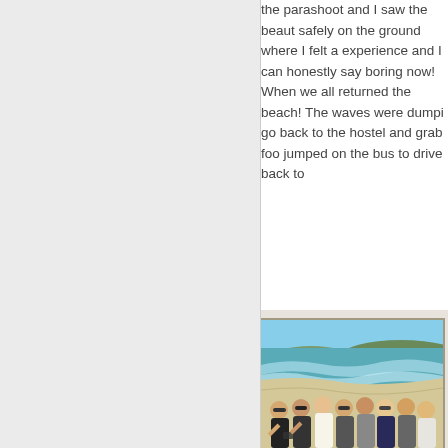the parashoot and I saw the beaut safely on the ground where I felt a experience and I can honestly say boring now! When we all returned the beach! The waves were dumpi go back to the hostel and grab foo jumped on the bus to drive back to
[Figure (photo): Group photo of approximately 10 young people smiling at the camera, taken on a coastal cliff or headland with a long curved beach, turquoise ocean waves, and green headland visible in the background.]